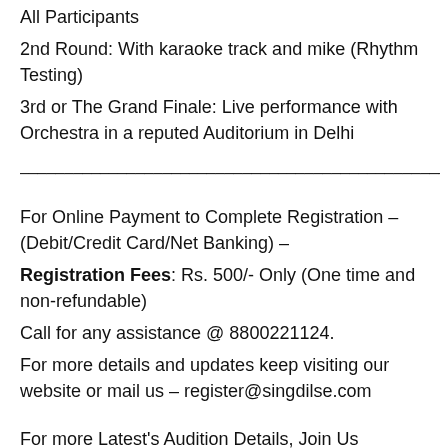All Participants
2nd Round: With karaoke track and mike (Rhythm Testing)
3rd or The Grand Finale: Live performance with Orchestra in a reputed Auditorium in Delhi
————————————————————————————————————————
For Online Payment to Complete Registration – (Debit/Credit Card/Net Banking) –
Registration Fees: Rs. 500/- Only (One time and non-refundable)
Call for any assistance @ 8800221124.
For more details and updates keep visiting our website or mail us – register@singdilse.com
For more Latest's Audition Details, Join Us FACEBOOK